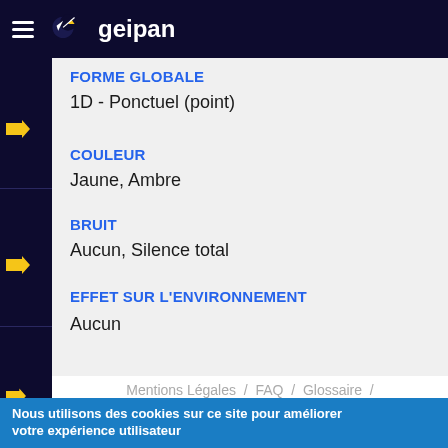geipan
FORME GLOBALE
1D - Ponctuel (point)
COULEUR
Jaune, Ambre
BRUIT
Aucun, Silence total
EFFET SUR L'ENVIRONNEMENT
Aucun
Mentions Légales / FAQ / Glossaire /
Nous utilisons des cookies sur ce site pour améliorer votre expérience utilisateur